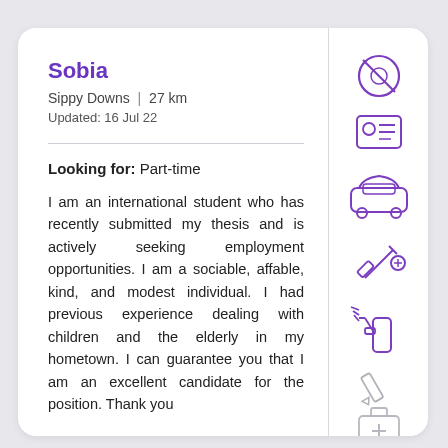Sobia
Sippy Downs | 27 km
Updated: 16 Jul 22
Looking for: Part-time
I am an international student who has recently submitted my thesis and is actively seeking employment opportunities. I am a sociable, affable, kind, and modest individual. I had previous experience dealing with children and the elderly in my hometown. I can guarantee you that I am an excellent candidate for the position. Thank you
[Figure (illustration): Column of purple and grey icons: no-smoking symbol, ID card, car, syringe/vaccination, spray bottle, pencil, medical kit, checklist]